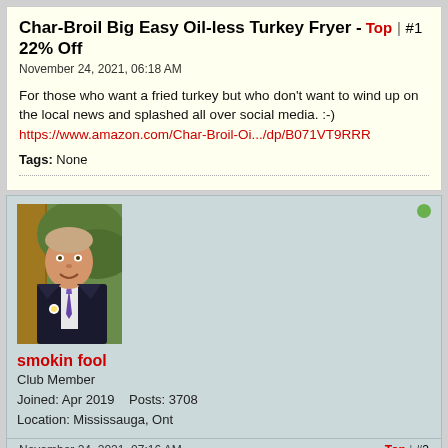Char-Broil Big Easy Oil-less Turkey Fryer - 22% Off Top | #1
November 24, 2021, 06:18 AM
For those who want a fried turkey but who don't want to wind up on the local news and splashed all over social media. :-)
https://www.amazon.com/Char-Broil-Oi.../dp/B071VT9RRR
Tags: None
[Figure (photo): Profile photo of user smokin fool - a man in a suit and tie outdoors]
smokin fool
Club Member
Joined: Apr 2019    Posts: 3708
Location: Mississauga, Ont
November 24, 2021, 07:16 AM    Top | #2